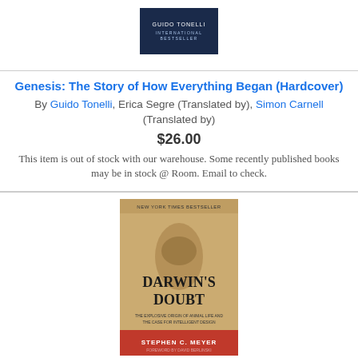[Figure (photo): Book cover of Genesis by Guido Tonelli - dark navy background with author name]
Genesis: The Story of How Everything Began (Hardcover)
By Guido Tonelli, Erica Segre (Translated by), Simon Carnell (Translated by)
$26.00
This item is out of stock with our warehouse. Some recently published books may be in stock @ Room. Email to check.
[Figure (photo): Book cover of Darwin's Doubt by Stephen C. Meyer - tan/beige with trilobite fossil image and red band at bottom]
Darwin's Doubt: The Explosive Origin of Animal Life and the Case for Intelligent Design (Paperback)
By Stephen C. Meyer
$21.99
This item is out of stock with our warehouse. Some recently